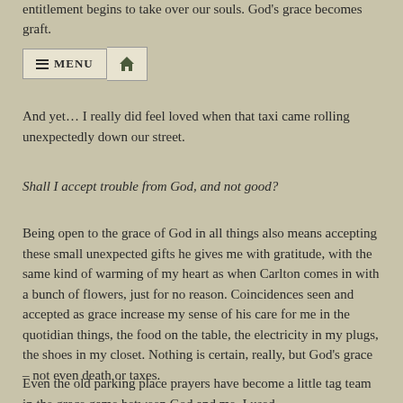entitlement begins to take over our souls.  God's grace becomes graft.
[Figure (screenshot): Navigation bar with hamburger menu icon and MENU label, and a home icon button]
And yet… I really did feel loved when that taxi came rolling unexpectedly down our street.
Shall I accept trouble from God, and not good?
Being open to the grace of God in all things also means accepting these small unexpected gifts he gives me with gratitude, with the same kind of warming of my heart as when Carlton comes in with a bunch of flowers, just for no reason.  Coincidences seen and accepted as grace increase my sense of his care for me in the quotidian things, the food on the table, the electricity in my plugs, the shoes in my closet.  Nothing is certain, really, but God's grace – not even death or taxes.
Even the old parking place prayers have become a little tag team in the grace game between God and me.  I used